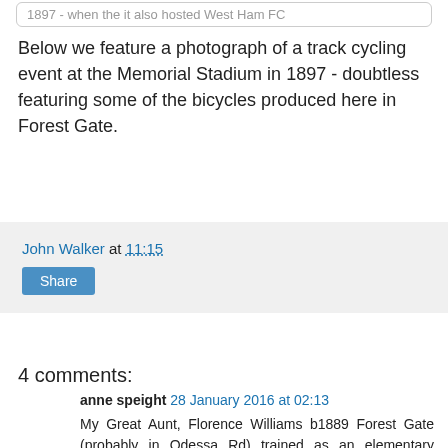1897 - when the it also hosted West Ham FC
Below we feature a photograph of a track cycling event at the Memorial Stadium in 1897 - doubtless featuring some of the bicycles produced here in Forest Gate.
John Walker at 11:15
Share
4 comments:
anne speight 28 January 2016 at 02:13
My Great Aunt, Florence Williams b1889 Forest Gate (probably in Odessa Rd) trained as an elementary school teacher. She was a member of the Clarion Cycling Club and met up with friends at the club house at Nazeing, nr Waltham Abbey in the Lea Valley. This particular cycling